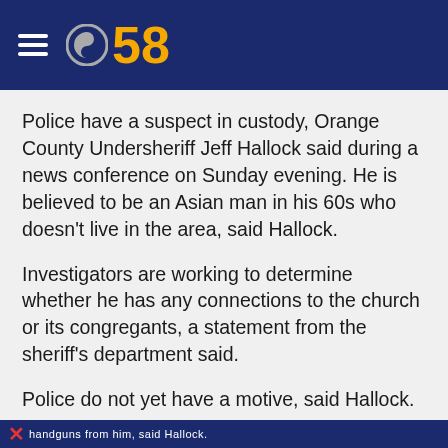CBS 58
Police have a suspect in custody, Orange County Undersheriff Jeff Hallock said during a news conference on Sunday evening. He is believed to be an Asian man in his 60s who doesn't live in the area, said Hallock.
Investigators are working to determine whether he has any connections to the church or its congregants, a statement from the sheriff's department said.
Police do not yet have a motive, said Hallock.
The suspect was detained at the scene after a group of people at the church were able to hogtie his legs with an extension cord and confiscate at least two handguns from him, said Hallock.